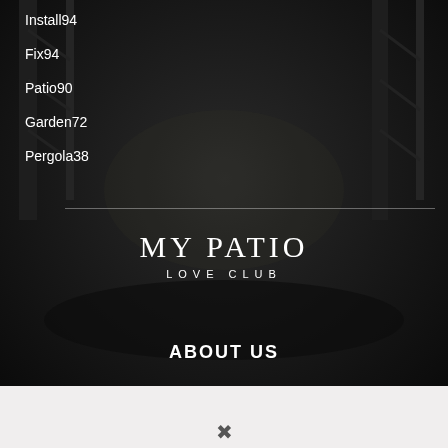[Figure (photo): Dark atmospheric background photo of an outdoor patio/venue with metal truss structures, ambient lighting, and seating area visible]
Install94
Fix94
Patio90
Garden72
Pergola38
MY PATIO
LOVE CLUB
ABOUT US